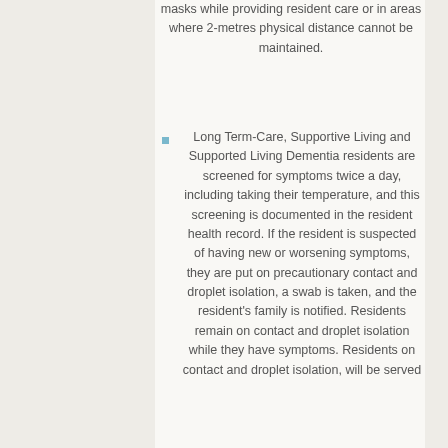masks while providing resident care or in areas where 2-metres physical distance cannot be maintained.
Long Term-Care, Supportive Living and Supported Living Dementia residents are screened for symptoms twice a day, including taking their temperature, and this screening is documented in the resident health record. If the resident is suspected of having new or worsening symptoms, they are put on precautionary contact and droplet isolation, a swab is taken, and the resident's family is notified. Residents remain on contact and droplet isolation while they have symptoms. Residents on contact and droplet isolation, will be served